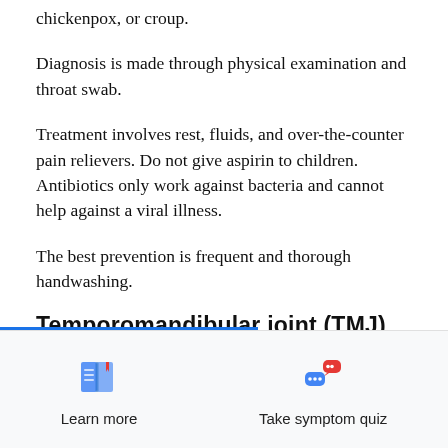chickenpox, or croup.
Diagnosis is made through physical examination and throat swab.
Treatment involves rest, fluids, and over-the-counter pain relievers. Do not give aspirin to children. Antibiotics only work against bacteria and cannot help against a viral illness.
The best prevention is frequent and thorough handwashing.
Temporomandibular joint (TMJ)
[Figure (other): Learn more button with book icon]
[Figure (other): Take symptom quiz button with chat bubble icon]